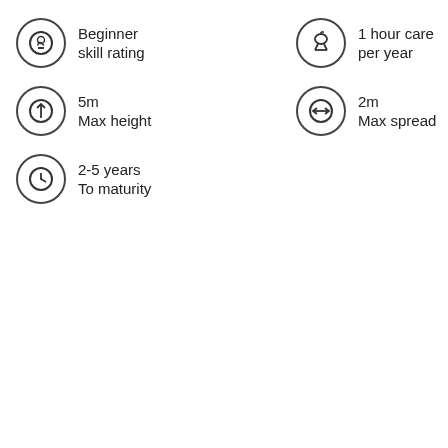Beginner skill rating
1 hour care per year
5m Max height
2m Max spread
2-5 years To maturity
CREATE YOUR…
Create your free SHO… in your garden.
Add your own photos… to care for your plants… started now.
CRE…
COLOUR
Flower
Pink, Purple, Reddish-bro… Autumn
Foliage
Mid-green in Spring; Mid-g…
General care
Pruning